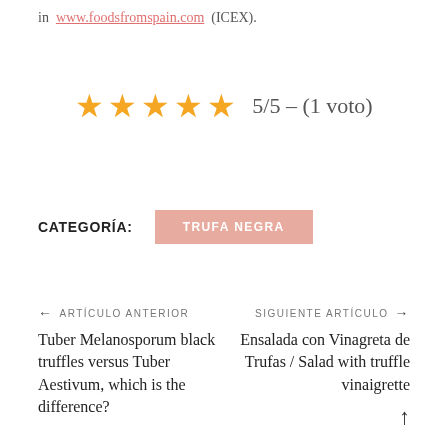in  www.foodsfromspain.com  (ICEX).
[Figure (other): 5 gold stars rating display with text '5/5 - (1 voto)']
CATEGORÍA:   TRUFA NEGRA
← ARTÍCULO ANTERIOR
Tuber Melanosporum black truffles versus Tuber Aestivum, which is the difference?
SIGUIENTE ARTÍCULO →
Ensalada con Vinagreta de Trufas / Salad with truffle vinaigrette